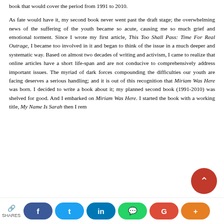book that would cover the period from 1991 to 2010.

As fate would have it, my second book never went past the draft stage; the overwhelming news of the suffering of the youth became so acute, causing me so much grief and emotional torment. Since I wrote my first article, This Too Shall Pass: Time For Real Outrage, I became too involved in it and began to think of the issue in a much deeper and systematic way. Based on almost two decades of writing and activism, I came to realize that online articles have a short life-span and are not conducive to comprehensively address important issues. The myriad of dark forces compounding the difficulties our youth are facing deserves a serious handling; and it is out of this recognition that Miriam Was Here was born. I decided to write a book about it; my planned second book (1991-2010) was shelved for good. And I embarked on Miriam Was Here. I started the book with a working title, My Name Is Sarah then I rem...
[Figure (other): Social sharing bar with share icon and SHARES label, followed by Facebook, Twitter, LinkedIn, WhatsApp, Google, and More (+) buttons. A red scroll-to-top button with a caret/chevron up icon appears above the bar.]